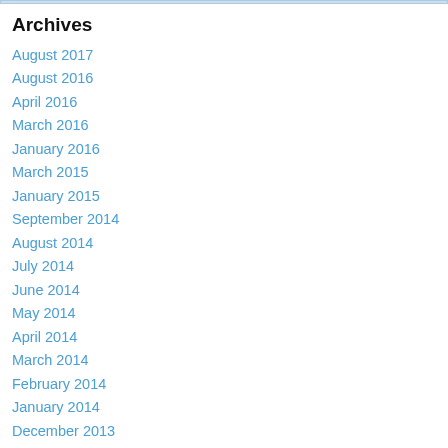Archives
August 2017
August 2016
April 2016
March 2016
January 2016
March 2015
January 2015
September 2014
August 2014
July 2014
June 2014
May 2014
April 2014
March 2014
February 2014
January 2014
December 2013
November 2013